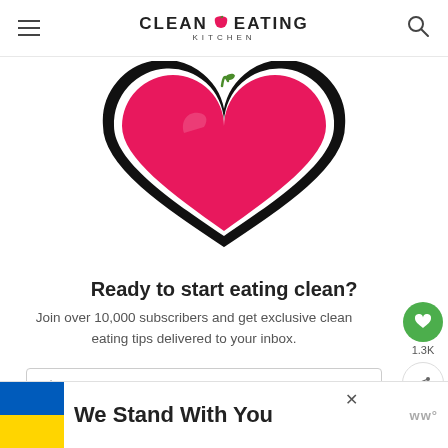CLEAN EATING KITCHEN
[Figure (logo): Clean Eating Kitchen logo with pink heart and apple stem, large heart graphic below in pink with black outline]
Ready to start eating clean?
Join over 10,000 subscribers and get exclusive clean eating tips delivered to your inbox.
First Name
[Figure (infographic): Green circle button with white heart icon, count 1.3K, share button below]
We Stand With You